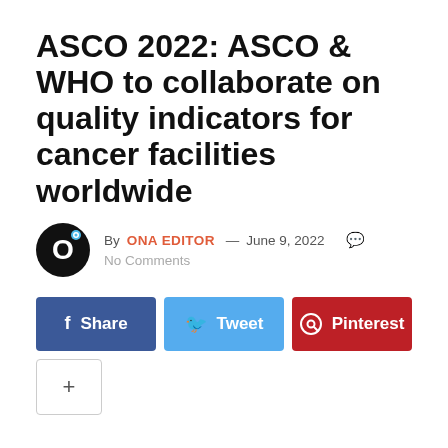ASCO 2022: ASCO & WHO to collaborate on quality indicators for cancer facilities worldwide
By ONA EDITOR — June 9, 2022   No Comments
[Figure (other): Social sharing buttons: Share (Facebook, blue), Tweet (Twitter, light blue), Pinterest (red), and a + button]
Share, Tweet, Pinterest, +